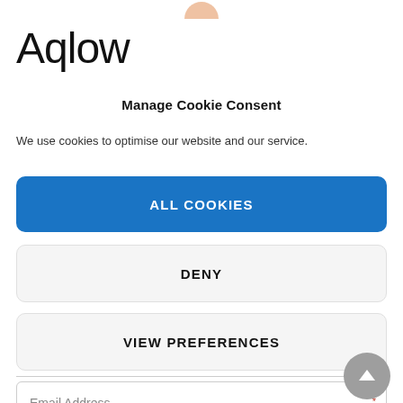[Figure (logo): Partial circular logo shape in peach/orange color at top center]
Aqlow
Manage Cookie Consent
We use cookies to optimise our website and our service.
ALL COOKIES
DENY
VIEW PREFERENCES
Email Address *